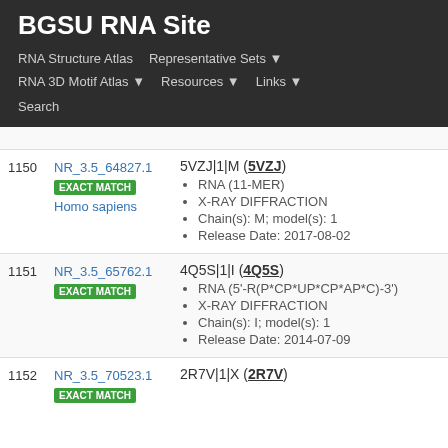BGSU RNA Site
RNA Structure Atlas
Representative Sets
RNA 3D Motif Atlas
Resources
Links
Search
|  |  |  |
| --- | --- | --- |
| 1150 | NR_3.5_64827.1
EXACT MATCH
Homo sapiens | 5VZJ|1|M (5VZJ)
RNA (11-MER)
X-RAY DIFFRACTION
Chain(s): M; model(s): 1
Release Date: 2017-08-02 |
| 1151 | NR_3.5_65762.1
EXACT MATCH | 4Q5S|1|I (4Q5S)
RNA (5'-R(P*CP*UP*CP*AP*C)-3')
X-RAY DIFFRACTION
Chain(s): I; model(s): 1
Release Date: 2014-07-09 |
| 1152 | NR_3.5_70523.1
EXACT MATCH | 2R7V|1|X (2R7V) |